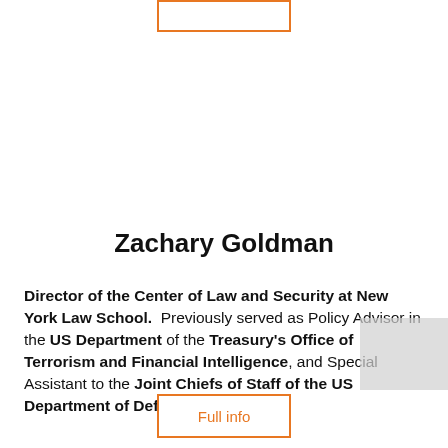[Figure (other): Top button outline with orange border, partially visible at top of page]
Zachary Goldman
Director of the Center of Law and Security at New York Law School. Previously served as Policy Advisor in the US Department of the Treasury's Office of Terrorism and Financial Intelligence, and Special Assistant to the Joint Chiefs of Staff of the US Department of Defence.
[Figure (other): Full info button with orange border at bottom of page]